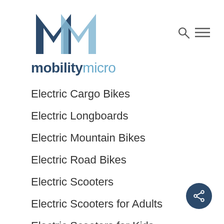[Figure (logo): MobilityMicro logo with two overlapping M letters in dark blue and light blue, followed by text 'mobilitymicro' in dark blue and light blue]
Electric Cargo Bikes
Electric Longboards
Electric Mountain Bikes
Electric Road Bikes
Electric Scooters
Electric Scooters for Adults
Electric Scooters for Kids
Electric Skateboards
Folding Electric Bikes